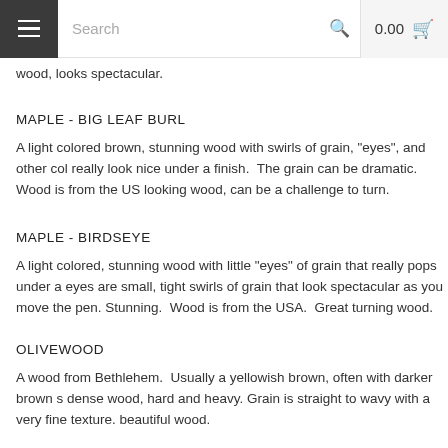Search  0.00
wood, looks spectacular.
MAPLE - BIG LEAF BURL
A light colored brown, stunning wood with swirls of grain, "eyes", and other col really look nice under a finish.  The grain can be dramatic. Wood is from the US looking wood, can be a challenge to turn.
MAPLE - BIRDSEYE
A light colored, stunning wood with little "eyes" of grain that really pops under a finish. eyes are small, tight swirls of grain that look spectacular as you move the pen. Stunning.  Wood is from the USA.  Great turning wood.
OLIVEWOOD
A wood from Bethlehem.  Usually a yellowish brown, often with darker brown s dense wood, hard and heavy. Grain is straight to wavy with a very fine texture. beautiful wood.